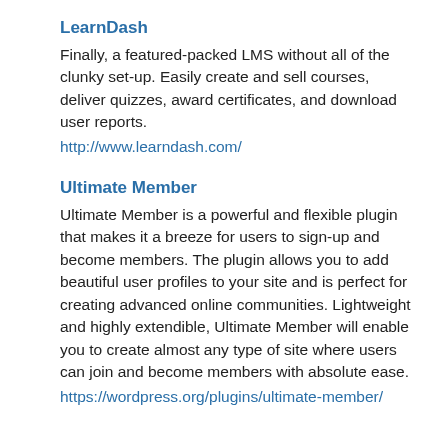LearnDash
Finally, a featured-packed LMS without all of the clunky set-up. Easily create and sell courses, deliver quizzes, award certificates, and download user reports.
http://www.learndash.com/
Ultimate Member
Ultimate Member is a powerful and flexible plugin that makes it a breeze for users to sign-up and become members. The plugin allows you to add beautiful user profiles to your site and is perfect for creating advanced online communities. Lightweight and highly extendible, Ultimate Member will enable you to create almost any type of site where users can join and become members with absolute ease.
https://wordpress.org/plugins/ultimate-member/